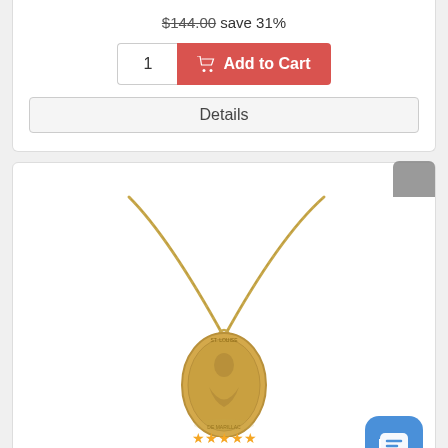$144.00 save 31%
[Figure (screenshot): Quantity input box showing '1' and red 'Add to Cart' button with cart icon]
[Figure (screenshot): 'Details' button]
[Figure (photo): Gold-filled St. Louise de Marillac pendant on a gold chain, oval medal with saint figure engraved]
Gold-Filled St. Louise de Marillac Pendant